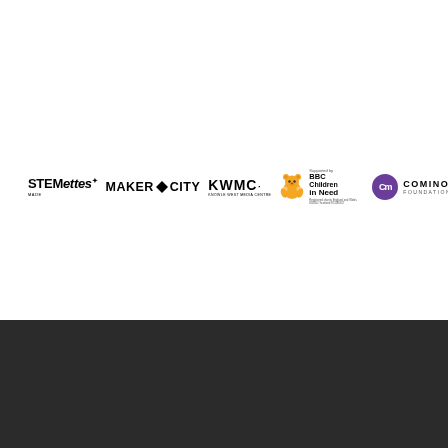[Figure (logo): Row of six sponsor/partner logos: STEMettes, MakerCity, KWMC (Kings West Media Centre), BBC Children in Need (Supported by), Comino Foundation, Wellcome. White background above, dark background below.]